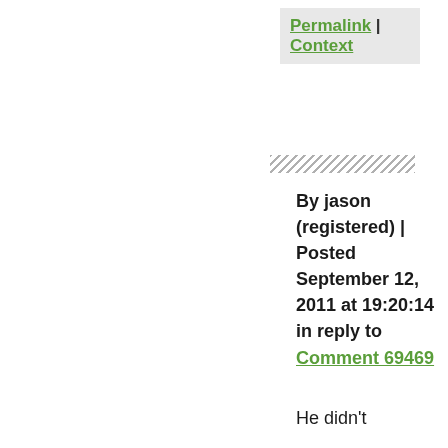Permalink | Context
By jason (registered) | Posted September 12, 2011 at 19:20:14 in reply to Comment 69469
He didn't